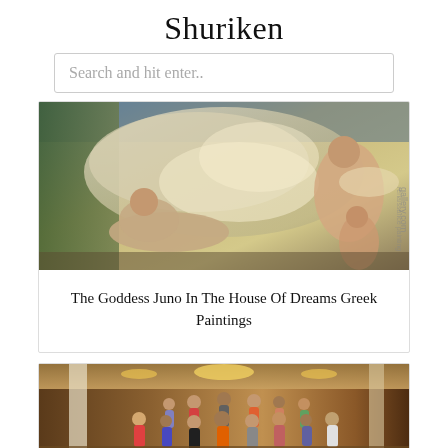Shuriken
Search and hit enter..
[Figure (photo): Classical baroque ceiling painting showing reclining figures, cherubs/angels, dramatic clouds and golden light. Watermark text 'gallery.com' visible on right side.]
The Goddess Juno In The House Of Dreams Greek Paintings
[Figure (photo): Group of children and teenagers posing inside an ornate gilded hall or opera house with chandeliers and decorative architecture.]